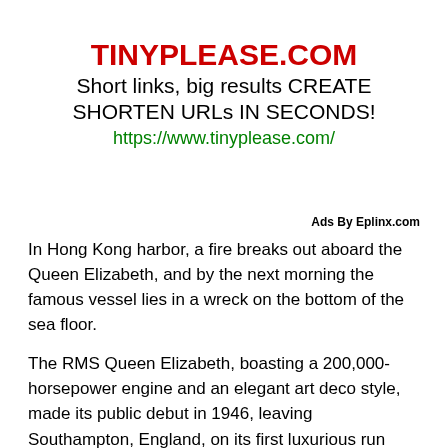TINYPLEASE.COM
Short links, big results CREATE SHORTEN URLs IN SECONDS!
https://www.tinyplease.com/
Ads By Eplinx.com
In Hong Kong harbor, a fire breaks out aboard the Queen Elizabeth, and by the next morning the famous vessel lies in a wreck on the bottom of the sea floor.
The RMS Queen Elizabeth, boasting a 200,000-horsepower engine and an elegant art deco style, made its public debut in 1946, leaving Southampton, England, on its first luxurious run across the Atlantic. However, before her days as a lavish passenger liner, the Queen Elizabeth steamed across the ocean